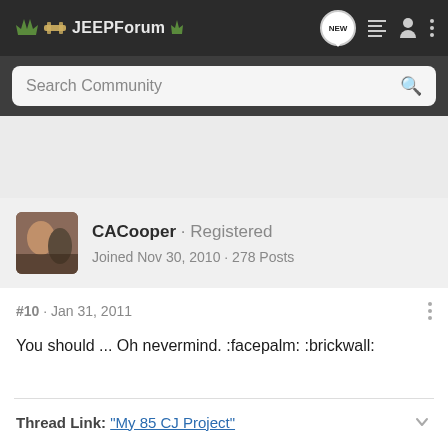JEEPForum
Search Community
CACooper · Registered
Joined Nov 30, 2010 · 278 Posts
#10 · Jan 31, 2011
You should ... Oh nevermind. :facepalm: :brickwall:
Thread Link: "My 85 CJ Project"